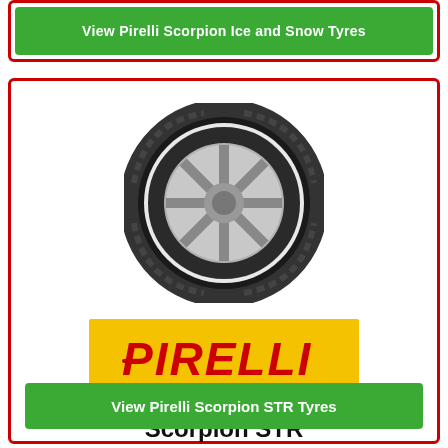View Pirelli Scorpion Ice and Snow Tyres
[Figure (photo): Pirelli Scorpion STR tyre with silver alloy wheel, side view showing tread pattern]
[Figure (logo): Pirelli logo on yellow background with red text]
Scorpion STR
View Pirelli Scorpion STR Tyres